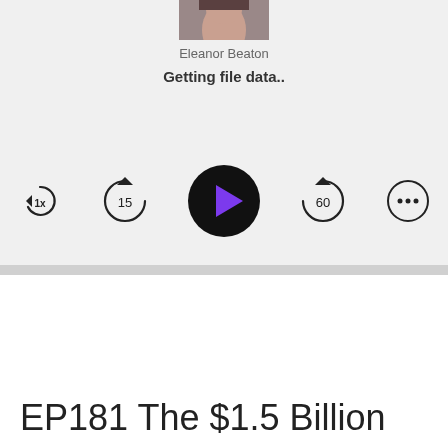[Figure (screenshot): Podcast app screenshot showing thumbnail image of Eleanor Beaton at top, author name 'Eleanor Beaton', status text 'Getting file data..', and playback controls row with speed (1x), rewind 15, play button, forward 60, and more options buttons]
Eleanor Beaton
Getting file data..
EP181 The $1.5 Billion